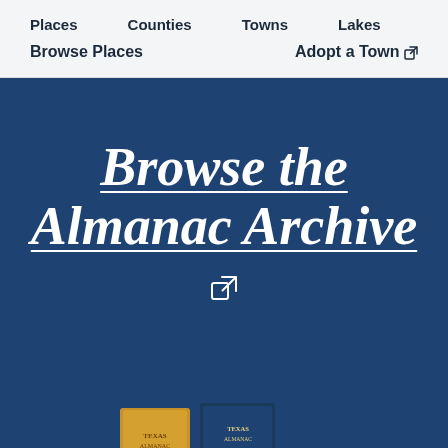Places   Counties   Towns   Lakes
Browse Places   Adopt a Town ↗
Browse the Almanac Archive ↗
[Figure (photo): Partial view of Texas Almanac book covers at the bottom of the hero section]